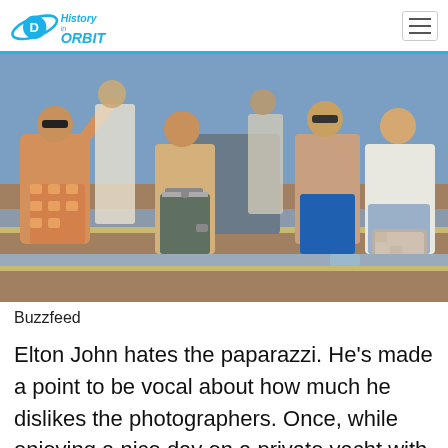History in Orbit
[Figure (photo): Group of men on a yacht, some shirtless, one in patterned swim trunks, one in a white shirt with a blurred area at lower right]
Buzzfeed
Elton John hates the paparazzi. He's made a point to be vocal about how much he dislikes the photographers. Once, while enjoying a nice day on a private yacht with his husband and friends, he snapped at the realization that